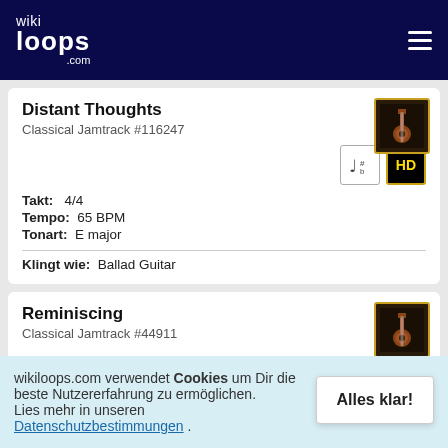wikiloops.com
Distant Thoughts
Classical Jamtrack #116247
Takt: 4/4
Tempo: 65 BPM
Tonart: E major
Klingt wie: Ballad Guitar
Reminiscing
Classical Jamtrack #44911
wikiloops.com verwendet Cookies um Dir die beste Nutzererfahrung zu ermöglichen. Lies mehr in unseren Datenschutzbestimmungen .